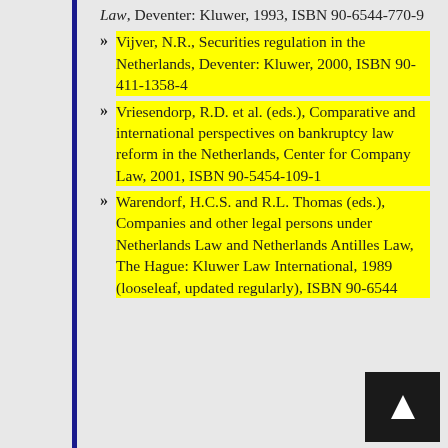Law, Deventer: Kluwer, 1993, ISBN 90-6544-770-9
Vijver, N.R., Securities regulation in the Netherlands, Deventer: Kluwer, 2000, ISBN 90-411-1358-4
Vriesendorp, R.D. et al. (eds.), Comparative and international perspectives on bankruptcy law reform in the Netherlands, Center for Company Law, 2001, ISBN 90-5454-109-1
Warendorf, H.C.S. and R.L. Thomas (eds.), Companies and other legal persons under Netherlands Law and Netherlands Antilles Law, The Hague: Kluwer Law International, 1989 (looseleaf, updated regularly), ISBN 90-6544